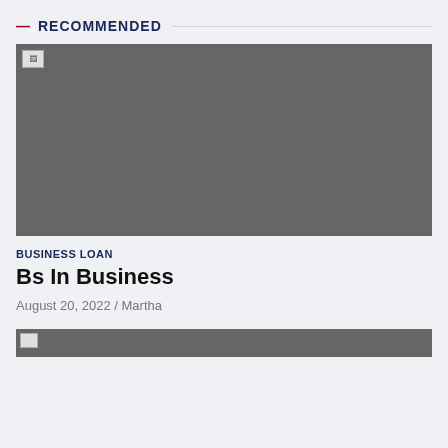— RECOMMENDED
[Figure (photo): Article thumbnail image placeholder (broken image), dark gray background]
BUSINESS LOAN
Bs In Business
August 20, 2022  /  Martha
[Figure (photo): Second article thumbnail image placeholder (broken image), dark gray background, partially visible]